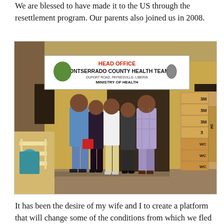We are blessed to have made it to the US through the resettlement program. Our parents also joined us in 2008.
[Figure (photo): Five people standing in front of the Head Office of Montserrado County Health Team, Duport Road, Paynesville-Liberia, Ministry of Health. There are stacked 3M and WC branded boxes visible to the right.]
It has been the desire of my wife and I to create a platform that will change some of the conditions from which we fled in Liberia